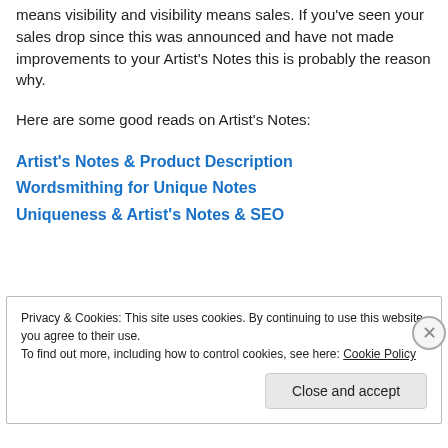means visibility and visibility means sales. If you've seen your sales drop since this was announced and have not made improvements to your Artist's Notes this is probably the reason why.
Here are some good reads on Artist's Notes:
Artist's Notes & Product Description
Wordsmithing for Unique Notes
Uniqueness & Artist's Notes & SEO
Privacy & Cookies: This site uses cookies. By continuing to use this website, you agree to their use.
To find out more, including how to control cookies, see here: Cookie Policy
Close and accept